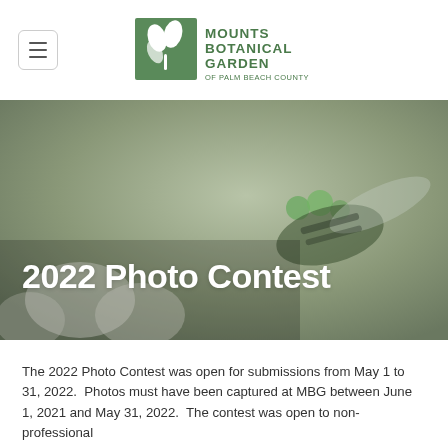[Figure (logo): Mounts Botanical Garden of Palm Beach County logo — green square with white leaf/plant illustration, text 'MOUNTS BOTANICAL GARDEN OF PALM BEACH COUNTY']
[Figure (photo): Close-up macro photo of a green metallic bee on white flowers, muted gray-green tones, with bold white text overlay '2022 Photo Contest']
2022 Photo Contest
The 2022 Photo Contest was open for submissions from May 1 to 31, 2022.  Photos must have been captured at MBG between June 1, 2021 and May 31, 2022.  The contest was open to non-professional